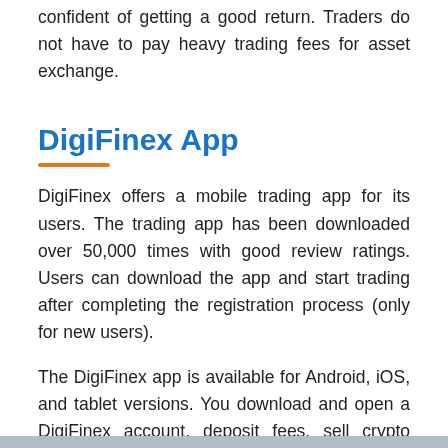confident of getting a good return. Traders do not have to pay heavy trading fees for asset exchange.
DigiFinex App
DigiFinex offers a mobile trading app for its users. The trading app has been downloaded over 50,000 times with good review ratings. Users can download the app and start trading after completing the registration process (only for new users).
The DigiFinex app is available for Android, iOS, and tablet versions. You download and open a DigiFinex account, deposit fees, sell crypto using a native token, etc.